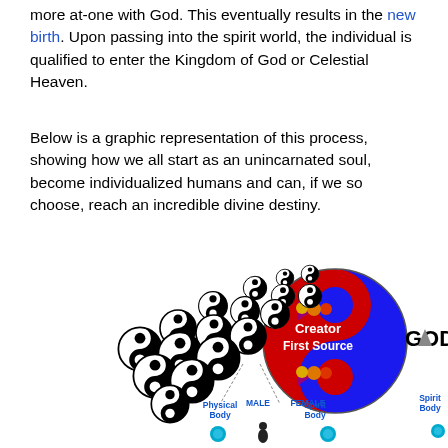more at-one with God. This eventually results in the new birth. Upon passing into the spirit world, the individual is qualified to enter the Kingdom of God or Celestial Heaven.
Below is a graphic representation of this process, showing how we all start as an unincarnated soul, become individualized humans and can, if we so choose, reach an incredible divine destiny.
[Figure (illustration): Diagram showing yin-yang symbols arranged in a triangular/arrow formation representing souls, pointing toward a large yin-yang style circle divided into blue (Creator First Source) and red sections, labeled GOD. Below the symbols are labels: Physical Body, Spirit Body, MALE, FEMALE, Spirit Body, Physical Body. Teal spheres and small human figures appear at the bottom.]